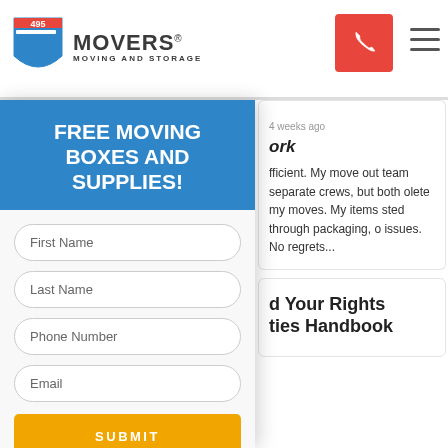[Figure (logo): 495 Movers Moving and Storage logo with highway shield icon]
[Figure (other): Red phone button and hamburger menu icon in header]
FREE MOVING BOXES AND SUPPLIES!
First Name
Last Name
Phone Number
Email
SUBMIT
VOID WHERE PROHIBITED. LIMIT ONE REDEMPTION PER HOUSEHOLD. FREE BOXES AND SUPPLIES WITH A BOOKED MOVE.
4 weeks ago
ork
fficient. My move out team separate crews, but both olete my moves. My items sted through packaging, o issues. No regrets...
d Your Rights ties Handbook